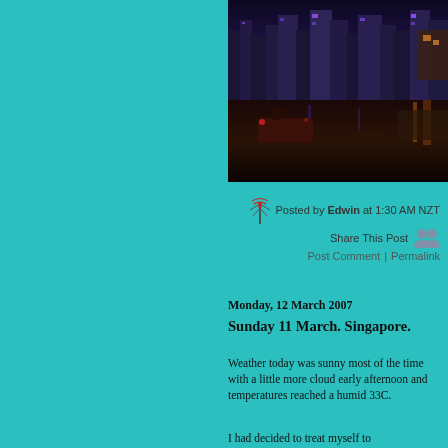[Figure (photo): Night cityscape photo showing a waterfront with illuminated buildings, reflections on water, and a boat in the foreground. The city skyline is lit up with purple, blue, and yellow lights.]
Posted by Edwin at 1:30 AM NZT
Share This Post
Post Comment | Permalink
Monday, 12 March 2007
Sunday 11 March. Singapore.
Weather today was sunny most of the time with a little more cloud early afternoon and temperatures reached a humid 33C.
I had decided to treat myself to